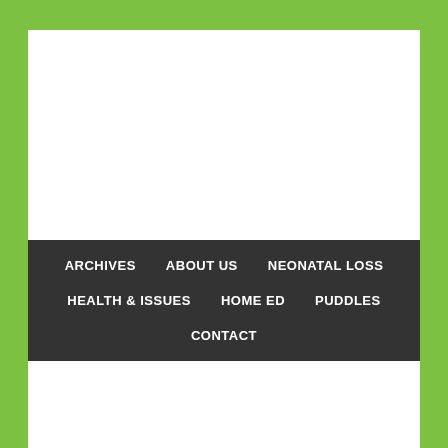ARCHIVES | ABOUT US | NEONATAL LOSS | HEALTH & ISSUES | HOME ED | PUDDLES | CONTACT
You are here: Home / Uncategorized / Ill again.
This website uses cookies to improve your experience. We'll assume you're ok with this, but you can opt-out if you wish.
Cookie settings   ACCEPT